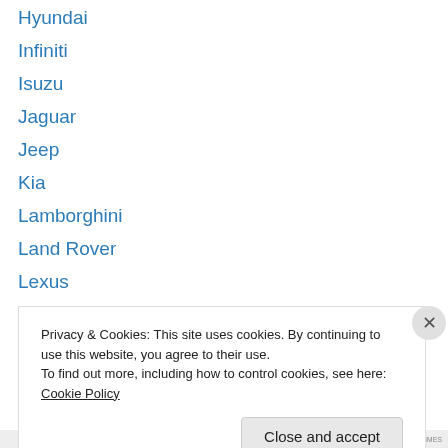Hyundai
Infiniti
Isuzu
Jaguar
Jeep
Kia
Lamborghini
Land Rover
Lexus
Lotus
Maserati
Mazda
McLaren
Privacy & Cookies: This site uses cookies. By continuing to use this website, you agree to their use. To find out more, including how to control cookies, see here: Cookie Policy
Close and accept